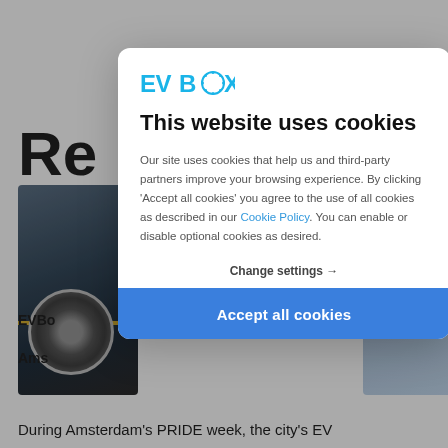[Figure (screenshot): Background website page showing partial text 'Re' heading, car image on left, canal/city image on right, and partial footer text 'EVBo', 'Ams', 'y in', and 'During Amsterdam’s PRIDE week, the city’s EV']
[Figure (logo): EVBox logo in cyan/blue color with stylized text EVBOX where O contains dotted circle pattern]
This website uses cookies
Our site uses cookies that help us and third-party partners improve your browsing experience. By clicking ‘Accept all cookies’ you agree to the use of all cookies as described in our Cookie Policy. You can enable or disable optional cookies as desired.
Change settings →
Accept all cookies